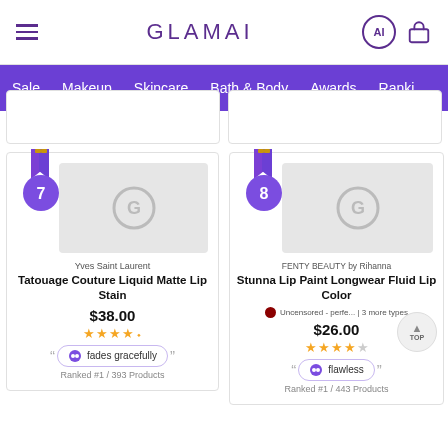GLAMAI — Sale | Makeup | Skincare | Bath & Body | Awards | Rankings
[Figure (screenshot): Product card for Yves Saint Laurent Tatouage Couture Liquid Matte Lip Stain ranked #7, $38.00, 4.5 stars, review tag 'fades gracefully', Ranked #1 / 393 Products]
[Figure (screenshot): Product card for FENTY BEAUTY by Rihanna Stunna Lip Paint Longwear Fluid Lip Color ranked #8, shade Uncensored - perfe... | 3 more types, $26.00, 4 stars, review tag 'flawless', Ranked #1 / 443 Products]